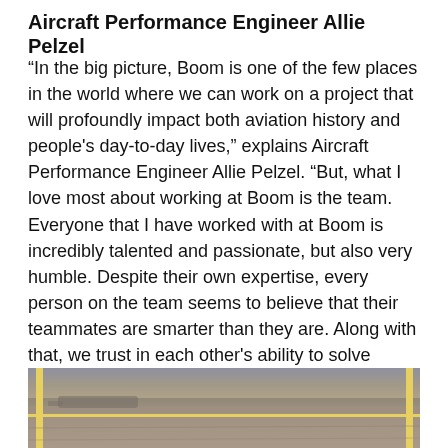Aircraft Performance Engineer Allie Pelzel
“In the big picture, Boom is one of the few places in the world where we can work on a project that will profoundly impact both aviation history and people’s day-to-day lives,” explains Aircraft Performance Engineer Allie Pelzel. “But, what I love most about working at Boom is the team. Everyone that I have worked with at Boom is incredibly talented and passionate, but also very humble. Despite their own expertise, every person on the team seems to believe that their teammates are smarter than they are. Along with that, we trust in each other’s ability to solve difficult problems.”
[Figure (photo): Photograph of a runway or tarmac area with yellow poles/barriers visible, taken from ground level]